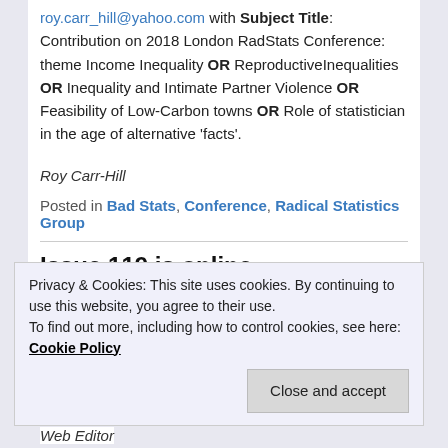roy.carr_hill@yahoo.com with Subject Title: Contribution on 2018 London RadStats Conference: theme Income Inequality OR ReproductiveInequalities OR Inequality and Intimate Partner Violence OR Feasibility of Low-Carbon towns OR Role of statistician in the age of alternative 'facts'.
Roy Carr-Hill
Posted in Bad Stats, Conference, Radical Statistics Group
Issue 119 is online
Privacy & Cookies: This site uses cookies. By continuing to use this website, you agree to their use.
To find out more, including how to control cookies, see here: Cookie Policy
Close and accept
Web Editor